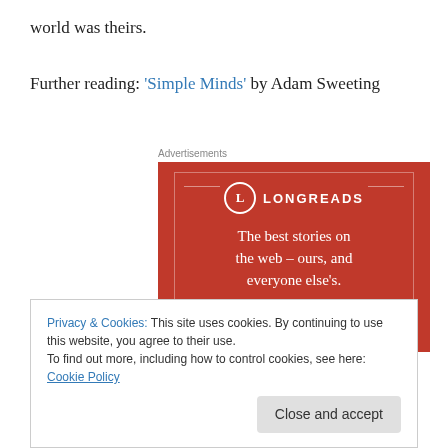world was theirs.
Further reading: 'Simple Minds' by Adam Sweeting
[Figure (illustration): Longreads advertisement banner with red background, Longreads logo (L in circle), headline text 'The best stories on the web – ours, and everyone else's.' and a 'Start reading' button]
Privacy & Cookies: This site uses cookies. By continuing to use this website, you agree to their use.
To find out more, including how to control cookies, see here: Cookie Policy
Close and accept